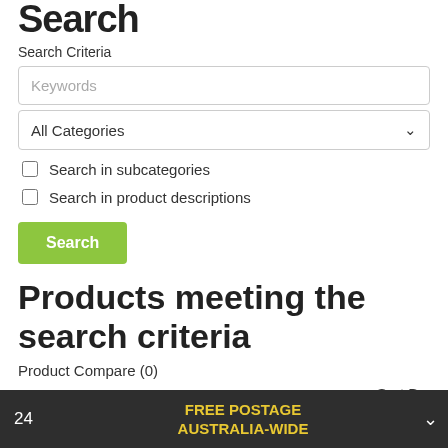Search
Search Criteria
Keywords
All Categories
Search in subcategories
Search in product descriptions
Search
Products meeting the search criteria
Product Compare (0)
Sort By:
Default
Show:
24  FREE POSTAGE AUSTRALIA-WIDE